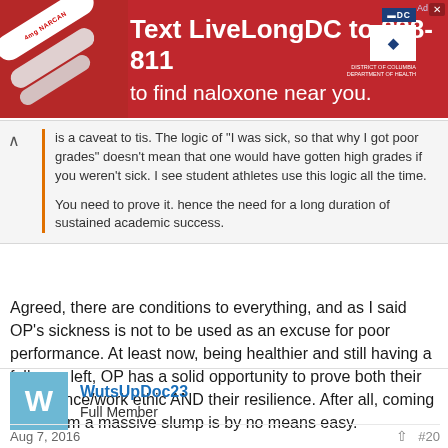[Figure (other): Red advertisement banner: Text LiveLongDC to 888-811 to find naloxone near you. DC and DDH logos on right.]
is a caveat to tis. The logic of "I was sick, so that why I got poor grades" doesn't mean that one would have gotten high grades if you weren't sick. I see student athletes use this logic all the time.

You need to prove it. hence the need for a long duration of sustained academic success.
Agreed, there are conditions to everything, and as I said OP's sickness is not to be used as an excuse for poor performance. At least now, being healthier and still having a full year left, OP has a solid opportunity to prove both their intelligence/work ethic AND their resilience. After all, coming back from a massive slump is by no means easy.
WutsUpDoc23
Full Member
Aug 7, 2016  #20